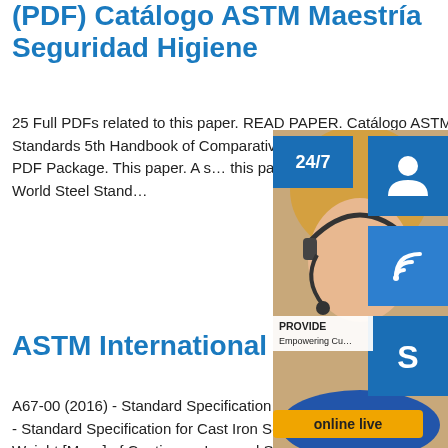(PDF) Catálogo ASTM Maestría Seguridad Higiene
25 Full PDFs related to this paper. READ PAPER. Catálogo ASTM (PDF) Handbook of Comparative World Standards 5th Handbook of Comparative World Standards 5th Edition. M. Herganzo. Download Download Full PDF Package. This paper. A short summary of this paper. 19 Full PDFs related to this paper. Handbook of Comparative World Steel Stand…
ASTM International - Iron Steel Products - Standards…
A67-00 (2016) - Standard Specification for Steel Tie Plates, Low-Carbon and High-Carbon-Hot-Worked. A74-20 - Standard Specification for Cast Iron Soil Pipe and Fittings. A90/A90M-13 (2018) - Standard Test Method for Weight [Mass] of Coating on Iron and Steel Articles with Zinc or Zinc-Alloy Coatings. ASTM International - Standards Search:AStandards Search:A. AIIMASTM - BP-01-08 Portable Document Format Healthcare (PDF) A Best Practices Guide
[Figure (other): Customer service overlay widget showing a woman with a headset, 24/7 badge, headset icon, phone icon, Skype icon, PROVIDE Empowering Customers text, and online live button]